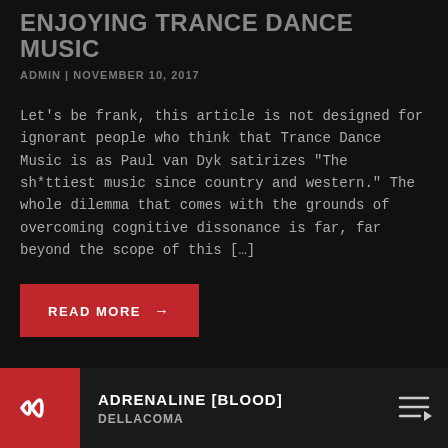ENJOYING TRANCE DANCE MUSIC
ADMIN | NOVEMBER 10, 2017
Let's be frank, this article is not designed for ignorant people who think that Trance Dance Music is as Paul van Dyk satirizes "The sh*ttiest music since country and western." The whole dilemma that comes with the grounds of overcoming cognitive dissonance is far, far beyond the scope of this […]
READ MORE →
ADRENALINE [BLOOD]
DELLACOMA